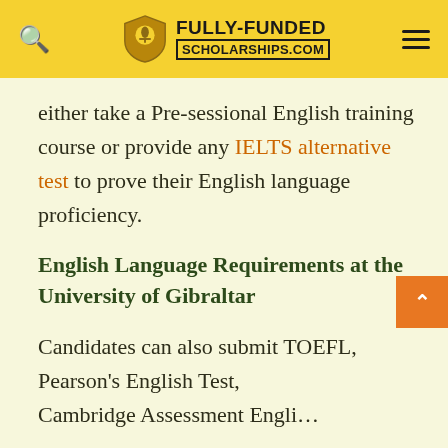FULLY-FUNDED SCHOLARSHIPS.COM
either take a Pre-sessional English training course or provide any IELTS alternative test to prove their English language proficiency.
English Language Requirements at the University of Gibraltar
Candidates can also submit TOEFL, Pearson's English Test, Cambridge Assessment English...